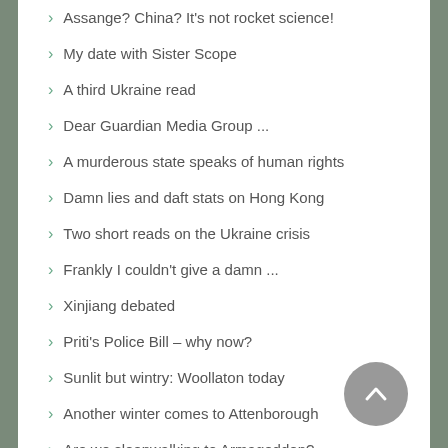Assange? China? It's not rocket science!
My date with Sister Scope
A third Ukraine read
Dear Guardian Media Group ...
A murderous state speaks of human rights
Damn lies and daft stats on Hong Kong
Two short reads on the Ukraine crisis
Frankly I couldn't give a damn ...
Xinjiang debated
Priti's Police Bill – why now?
Sunlit but wintry: Woollaton today
Another winter comes to Attenborough
Are we sleepwalking to Armageddon?
Snowfall on the Soar